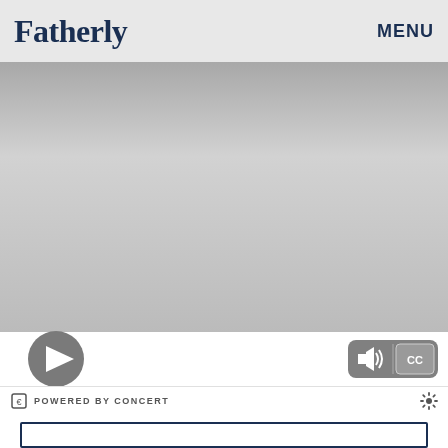Fatherly   MENU
[Figure (screenshot): Video player area with gradient grey background, play button on lower left, volume and CC controls on lower right, 'Powered by Concert' bar below]
POWERED BY CONCERT